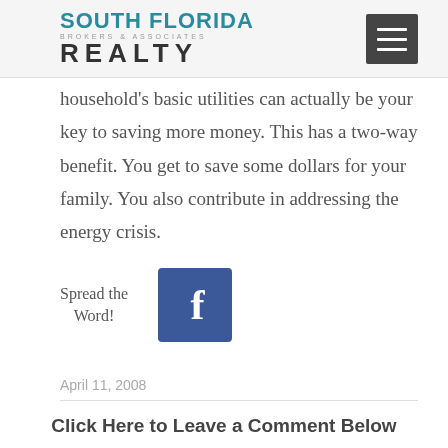South Florida Brokers & Associates Realty
household's basic utilities can actually be your key to saving more money. This has a two-way benefit. You get to save some dollars for your family. You also contribute in addressing the energy crisis.
Spread the Word!
[Figure (logo): Facebook share button icon]
April 11, 2008
Click Here to Leave a Comment Below